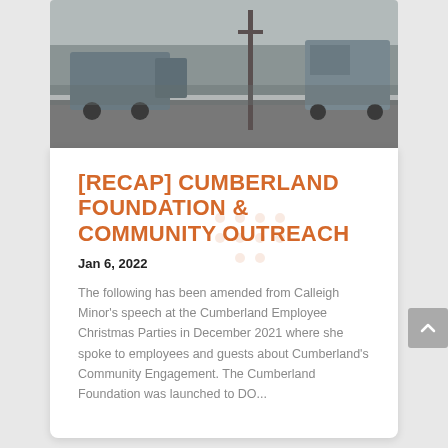[Figure (photo): Outdoor scene with utility/service trucks parked on a road or driveway with trees and a utility pole in the background.]
[RECAP] CUMBERLAND FOUNDATION & COMMUNITY OUTREACH
Jan 6, 2022
The following has been amended from Calleigh Minor's speech at the Cumberland Employee Christmas Parties in December 2021 where she spoke to employees and guests about Cumberland's Community Engagement. The Cumberland Foundation was launched to DO...